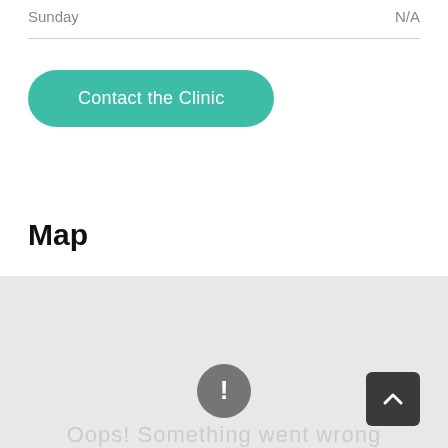Sunday
N/A
[Figure (screenshot): Green rounded button labeled 'Contact the Clinic']
Map
[Figure (map): Map area with light gray background showing an error state. Contains a gray circle with exclamation mark icon and a dark scroll-to-top button with chevron arrow. Partial text at bottom reads 'Oops! Something went wrong']